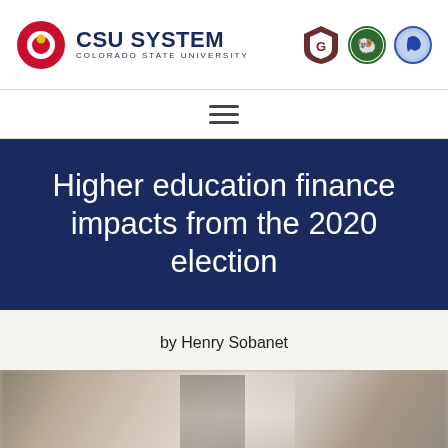CSU SYSTEM COLORADO STATE UNIVERSITY
Higher education finance impacts from the 2020 election
by Henry Sobanet
[Figure (photo): Blurred background photograph, likely of a building or hallway interior]